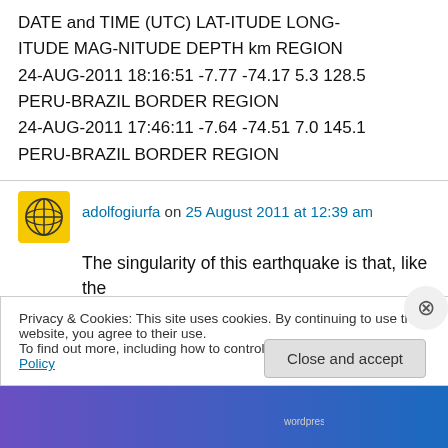DATE and TIME (UTC) LAT-ITUDE LONG-ITUDE MAG-NITUDE DEPTH km REGION 24-AUG-2011 18:16:51 -7.77 -74.17 5.3 128.5 PERU-BRAZIL BORDER REGION 24-AUG-2011 17:46:11 -7.64 -74.51 7.0 145.1 PERU-BRAZIL BORDER REGION
adolfogiurfa on 25 August 2011 at 12:39 am
The singularity of this earthquake is that, like the
Privacy & Cookies: This site uses cookies. By continuing to use this website, you agree to their use.
To find out more, including how to control cookies, see here: Cookie Policy